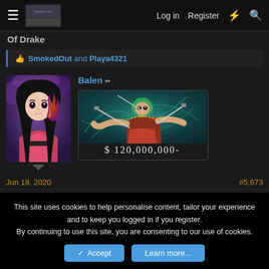≡  [site logo]  Log in  Register  ⚡  🔍
Of Drake
👍 SmokedOut and Playa4321
Balen
[Figure (illustration): Anime character avatar - dark haired girl with purple flames]
[Figure (illustration): One Piece bounty poster - green haired swordsman with $ 120,000,000- bounty amount shown at bottom]
Jun 18, 2020
#5,673
This site uses cookies to help personalise content, tailor your experience and to keep you logged in if you register.
By continuing to use this site, you are consenting to our use of cookies.
✓ Accept   Learn more...